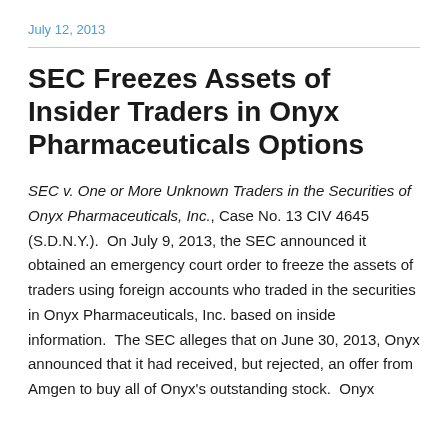July 12, 2013
SEC Freezes Assets of Insider Traders in Onyx Pharmaceuticals Options
SEC v. One or More Unknown Traders in the Securities of Onyx Pharmaceuticals, Inc., Case No. 13 CIV 4645 (S.D.N.Y.).  On July 9, 2013, the SEC announced it obtained an emergency court order to freeze the assets of traders using foreign accounts who traded in the securities in Onyx Pharmaceuticals, Inc. based on inside information.  The SEC alleges that on June 30, 2013, Onyx announced that it had received, but rejected, an offer from Amgen to buy all of Onyx's outstanding stock.  Onyx